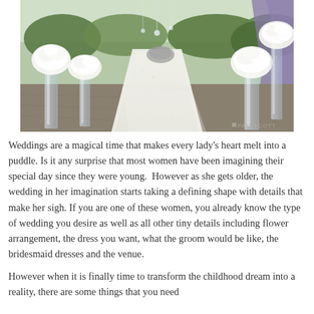[Figure (photo): Wedding aisle covered in white flower petals with tall glass vases holding white flower arrangements on either side, outdoor garden venue, purple draping visible in background. Watermark 'PAM SCOTT' in bottom right corner.]
Weddings are a magical time that makes every lady's heart melt into a puddle. Is it any surprise that most women have been imagining their special day since they were young.  However as she gets older, the wedding in her imagination starts taking a defining shape with details that make her sigh. If you are one of these women, you already know the type of wedding you desire as well as all other tiny details including flower arrangement, the dress you want, what the groom would be like, the bridesmaid dresses and the venue.
However when it is finally time to transform the childhood dream into a reality, there are some things that you need